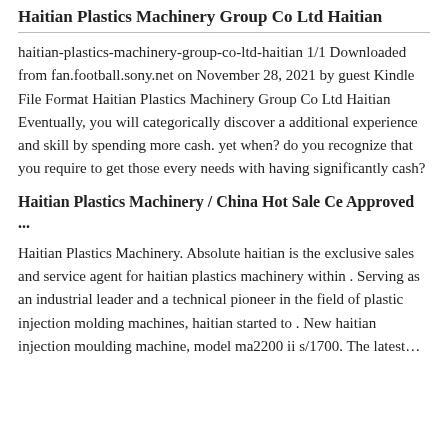Haitian Plastics Machinery Group Co Ltd Haitian
haitian-plastics-machinery-group-co-ltd-haitian 1/1 Downloaded from fan.football.sony.net on November 28, 2021 by guest Kindle File Format Haitian Plastics Machinery Group Co Ltd Haitian Eventually, you will categorically discover a additional experience and skill by spending more cash. yet when? do you recognize that you require to get those every needs with having significantly cash?
Haitian Plastics Machinery / China Hot Sale Ce Approved ...
Haitian Plastics Machinery. Absolute haitian is the exclusive sales and service agent for haitian plastics machinery within . Serving as an industrial leader and a technical pioneer in the field of plastic injection molding machines, haitian started to . New haitian injection moulding machine, model ma2200 ii s/1700. The latest...